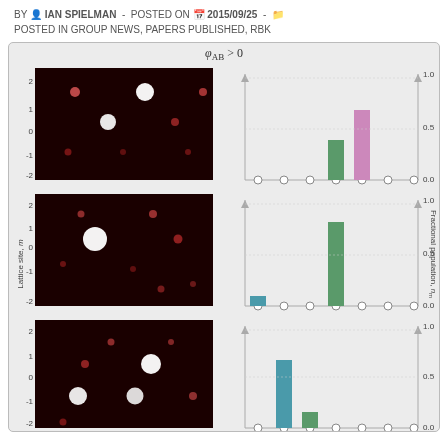BY IAN SPIELMAN - POSTED ON 2015/09/25 - POSTED IN GROUP NEWS, PAPERS PUBLISHED, RBK
[Figure (other): Scientific figure showing phi_AB > 0: three rows of momentum-space heatmap images (left) paired with bar charts showing fractional population at lattice sites (right). Top row: pink/mauve bar at site +1, teal outline bars elsewhere. Middle row: green tall bar at site 0, small teal bar at site -2. Bottom row: teal tall bar at site -1, small green bar at site 0. Y-axis labeled 'Lattice site, m' on left, 'Fractional population, n_m' on right. X-axis bottom labeled 'k_x/k_r' (left) and 'Lattice site, m' (right).]